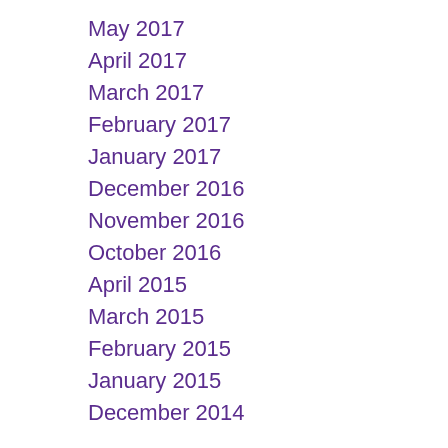May 2017
April 2017
March 2017
February 2017
January 2017
December 2016
November 2016
October 2016
April 2015
March 2015
February 2015
January 2015
December 2014